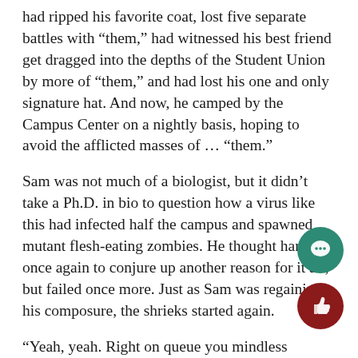had ripped his favorite coat, lost five separate battles with “them,” had witnessed his best friend get dragged into the depths of the Student Union by more of “them,” and had lost his one and only signature hat. And now, he camped by the Campus Center on a nightly basis, hoping to avoid the afflicted masses of … “them.”
Sam was not much of a biologist, but it didn’t take a Ph.D. in bio to question how a virus like this had infected half the campus and spawned mutant flesh-eating zombies. He thought hard once again to conjure up another reason for it all, but failed once more. Just as Sam was regaining his composure, the shrieks started again.
“Yeah, yeah. Right on queue you mindless creeps.” Sa… muttered as he nonchalantly brushed the dust from h… shoulder. “I’ve got plenty more shots, come get some…